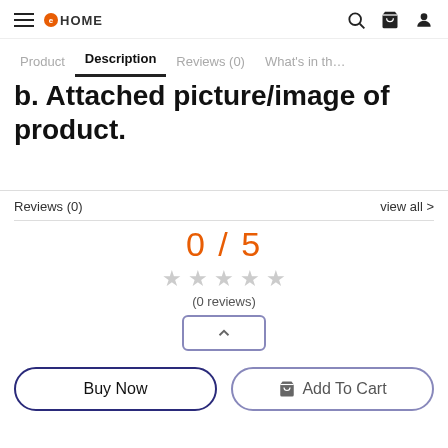HOME
Product   Description   Reviews (0)   What's in the
b. Attached picture/image of product.
Reviews (0)   view all >
0 / 5
(0 reviews)
Buy Now   Add To Cart